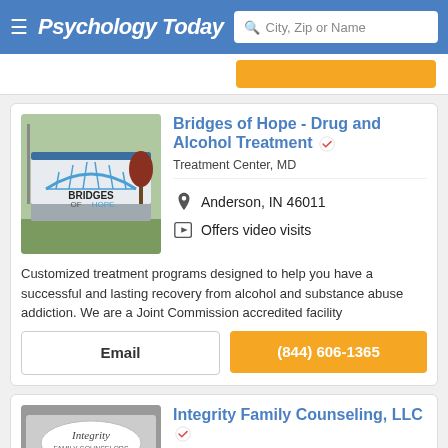Psychology Today — City, Zip or Name search bar
[Figure (screenshot): Bridges of Hope sign with blue bridge logo outdoors]
Bridges of Hope - Drug and Alcohol Treatment
Treatment Center, MD
Anderson, IN 46011
Offers video visits
Customized treatment programs designed to help you have a successful and lasting recovery from alcohol and substance abuse addiction. We are a Joint Commission accredited facility
Email
(844) 606-1365
[Figure (photo): Integrity Family Counseling LLC sign close-up]
Integrity Family Counseling, LLC
Treatment Center